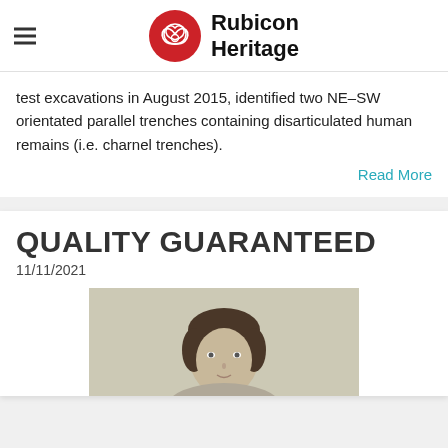Rubicon Heritage
test excavations in August 2015, identified two NE–SW orientated parallel trenches containing disarticulated human remains (i.e. charnel trenches).
Read More
QUALITY GUARANTEED
11/11/2021
[Figure (photo): Portrait photo of a person with dark hair against a light background]